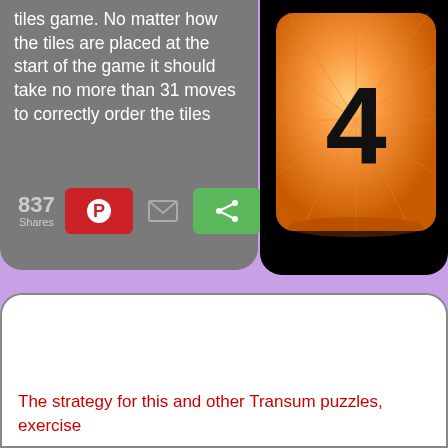tiles game. No matter how the tiles are placed at the start of the game it should take no more than 31 moves to correctly order the tiles
837 Shares
[Figure (photo): Orange game tile with the number 4 on a black background]
The strategy for this and other Transum puzzles, exercise